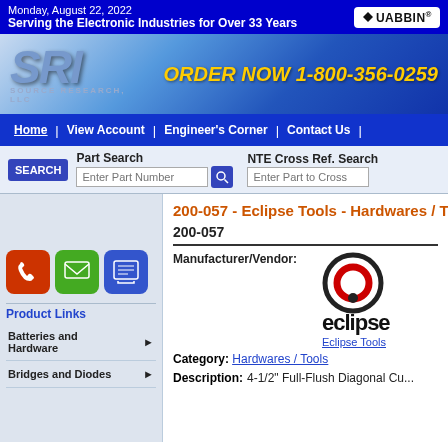Monday, August 22, 2022
Serving the Electronic Industries for Over 33 Years
[Figure (logo): Quabbin logo badge top right]
[Figure (logo): SRI Source Research LLC logo]
ORDER NOW 1-800-356-0259
Home | View Account | Engineer's Corner | Contact Us
Part Search - Enter Part Number | NTE Cross Ref. Search - Enter Part to Cross
200-057 - Eclipse Tools - Hardwares / T...
200-057
Manufacturer/Vendor:
[Figure (logo): Eclipse Tools logo with circular icon and wordmark]
Eclipse Tools
Category: Hardwares / Tools
Description: 4-1/2" Full-Flush Diagonal Cu...
Batteries and Hardware
Bridges and Diodes